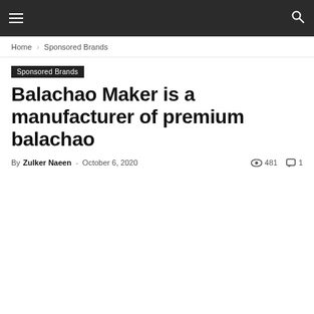≡  🔍
Home › Sponsored Brands
Sponsored Brands
Balachao Maker is a manufacturer of premium balachao
By Zulker Naeen - October 6, 2020   481   1